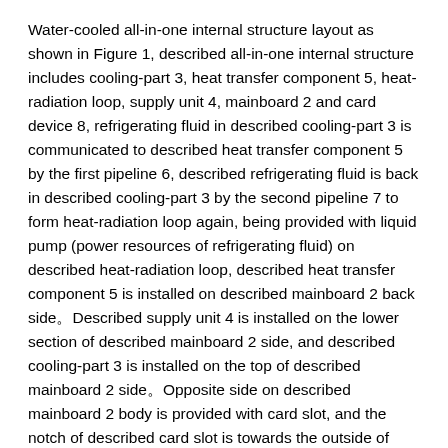Water-cooled all-in-one internal structure layout as shown in Figure 1, described all-in-one internal structure includes cooling-part 3, heat transfer component 5, heat-radiation loop, supply unit 4, mainboard 2 and card device 8, refrigerating fluid in described cooling-part 3 is communicated to described heat transfer component 5 by the first pipeline 6, described refrigerating fluid is back in described cooling-part 3 by the second pipeline 7 to form heat-radiation loop again, being provided with liquid pump (power resources of refrigerating fluid) on described heat-radiation loop, described heat transfer component 5 is installed on described mainboard 2 back side。Described supply unit 4 is installed on the lower section of described mainboard 2 side, and described cooling-part 3 is installed on the top of described mainboard 2 side。Opposite side on described mainboard 2 body is provided with card slot, and the notch of described card slot is towards the outside of mainboard 2 body opposite side, and it is interior and parallel with described mainboard 2 that described card device 8 is inserted in described card slot.
Refrigerating fluid in the cooling-part 3 of water-cooling radiating structure is communicated to heat transfer